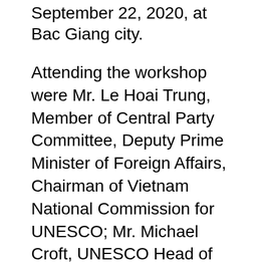September 22, 2020, at Bac Giang city.
Attending the workshop were Mr. Le Hoai Trung, Member of Central Party Committee, Deputy Prime Minister of Foreign Affairs, Chairman of Vietnam National Commission for UNESCO; Mr. Michael Croft, UNESCO Head of Office in Vietnam, PhD. Vu Thi Minh Huong, Vice Chairperson of UNESCO Memory of the World Committee of Asia-Pacific (MOWCAP), Mr. Andrew Henderson, MOWCAP Secretary General, Ms. Helen Jarvis, Acting Chairman of the Sub-Committee for Registration of Documents MOWCAP, Mr. Le Anh Duong, Vice Chairman